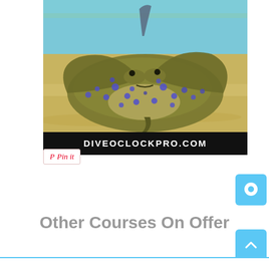[Figure (photo): Photograph of a blue-spotted stingray resting on sandy ocean floor, with blue spots visible on its brownish-yellow body. Below the photo is a black banner with the text DIVEOCLOCKPRO.COM in white bold letters.]
[Figure (other): Pinterest Pin it button — white button with red italic 'Pin it' text]
[Figure (other): Light blue chat/comment button icon in the bottom-right area]
Other Courses On Offer
[Figure (other): Light blue back-to-top arrow button in the bottom-right corner]